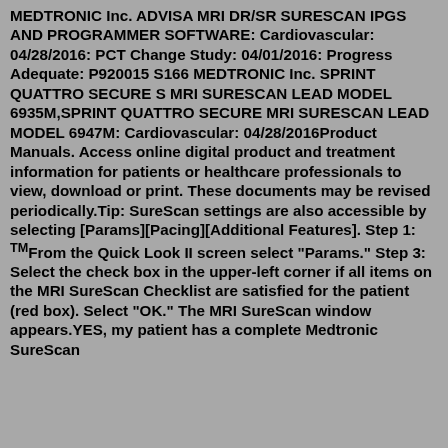MEDTRONIC Inc. ADVISA MRI DR/SR SURESCAN IPGS AND PROGRAMMER SOFTWARE: Cardiovascular: 04/28/2016: PCT Change Study: 04/01/2016: Progress Adequate: P920015 S166 MEDTRONIC Inc. SPRINT QUATTRO SECURE S MRI SURESCAN LEAD MODEL 6935M,SPRINT QUATTRO SECURE MRI SURESCAN LEAD MODEL 6947M: Cardiovascular: 04/28/2016Product Manuals. Access online digital product and treatment information for patients or healthcare professionals to view, download or print. These documents may be revised periodically.Tip: SureScan settings are also accessible by selecting [Params][Pacing][Additional Features]. Step 1: ™From the Quick Look II screen select "Params." Step 3: Select the check box in the upper-left corner if all items on the MRI SureScan Checklist are satisfied for the patient (red box). Select "OK." The MRI SureScan window appears.YES, my patient has a complete Medtronic SureScan